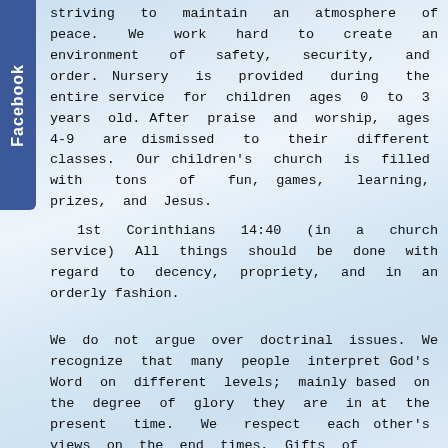striving to maintain an atmosphere of peace. We work hard to create an environment of safety, security, and order. Nursery is provided during the entire service for children ages 0 to 3 years old. After praise and worship, ages 4-9 are dismissed to their different classes. Our children's church is filled with tons of fun, games, learning, prizes, and Jesus.
1st Corinthians 14:40 (in a church service) All things should be done with regard to decency, propriety, and in an orderly fashion.
We do not argue over doctrinal issues. We recognize that many people interpret God's Word on different levels; mainly based on the degree of glory they are in at the present time. We respect each other's views on the end times, Gifts of